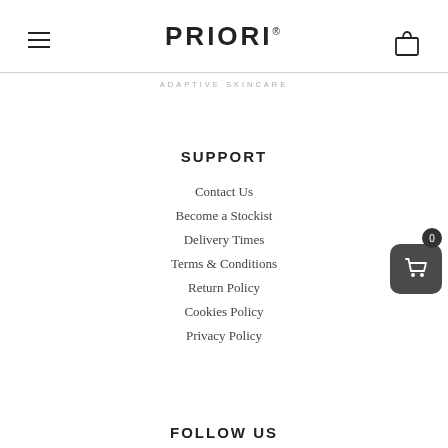PRIORI
ADAPTIVE SKINCARE
SUPPORT
Contact Us
Become a Stockist
Delivery Times
Terms & Conditions
Return Policy
Cookies Policy
Privacy Policy
FOLLOW US